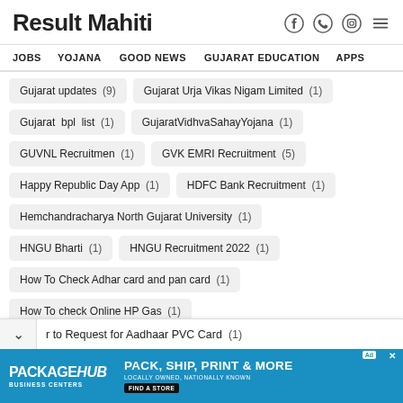Result Mahiti
JOBS  YOJANA  GOOD NEWS  GUJARAT EDUCATION  APPS
Gujarat updates (9)
Gujarat Urja Vikas Nigam Limited (1)
Gujarat bpl list (1)
GujaratVidhvaSahayYojana (1)
GUVNL Recruitmen (1)
GVK EMRI Recruitment (5)
Happy Republic Day App (1)
HDFC Bank Recruitment (1)
Hemchandracharya North Gujarat University (1)
HNGU Bharti (1)
HNGU Recruitment 2022 (1)
How To Check Adhar card and pan card (1)
How To check Online HP Gas (1)
r to Request for Aadhaar PVC Card (1)
[Figure (screenshot): PackageHub Business Centers advertisement banner — blue background with white text: PACK, SHIP, PRINT & MORE. Locally Owned, Nationally Known. Find a Store button.]